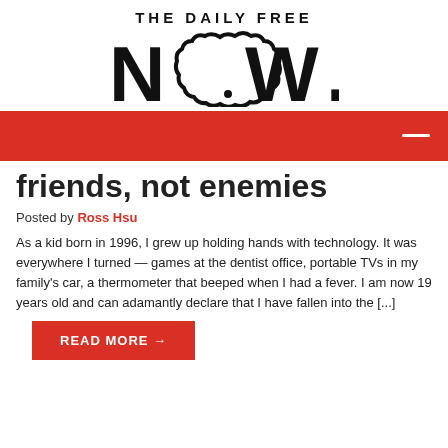[Figure (logo): The Daily Free NOW logo with stylized text and cloud-shaped letter O]
friends, not enemies
Posted by Ross Hsu
As a kid born in 1996, I grew up holding hands with technology. It was everywhere I turned — games at the dentist office, portable TVs in my family's car, a thermometer that beeped when I had a fever. I am now 19 years old and can adamantly declare that I have fallen into the [...]
READ MORE →